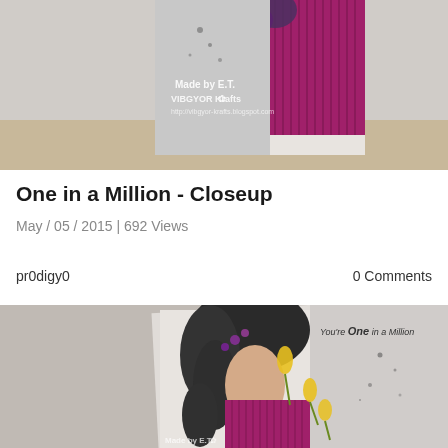[Figure (photo): Cropped top portion of a handmade greeting card showing a woman in a magenta/purple dress with floral details, with 'VIBGYOR Krafts' watermark and 'Made by E.T.' text overlay. Card is displayed on a wooden surface.]
One in a Million - Closeup
May / 05 / 2015 | 692 Views
pr0digy0
0 Comments
[Figure (photo): Close-up photo of a handmade greeting card featuring a woman viewed from behind with elaborate braided hair adorned with purple flowers, wearing a magenta dress, holding yellow tulips. Text on card reads 'You're One in a Million'. Card has ink splatters and watermark 'Made by E.T.' at bottom.]